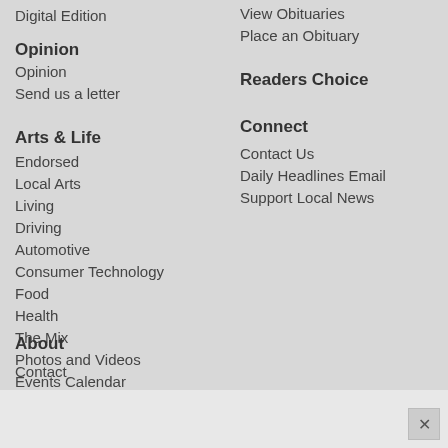Digital Edition
Opinion
Opinion
Send us a letter
Arts & Life
Endorsed
Local Arts
Living
Driving
Automotive
Consumer Technology
Food
Health
The Mix
Photos and Videos
Events Calendar
About
Contact
View Obituaries
Place an Obituary
Readers Choice
Connect
Contact Us
Daily Headlines Email
Support Local News